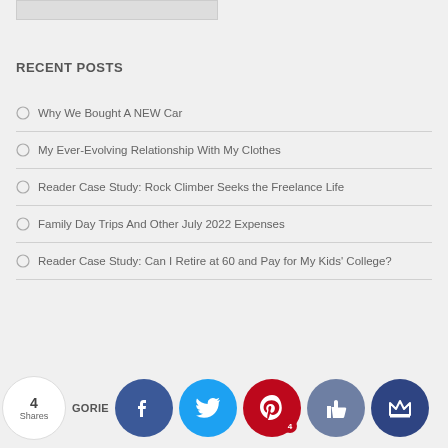[Figure (photo): Partial top image bar cropped at top of page]
RECENT POSTS
Why We Bought A NEW Car
My Ever-Evolving Relationship With My Clothes
Reader Case Study: Rock Climber Seeks the Freelance Life
Family Day Trips And Other July 2022 Expenses
Reader Case Study: Can I Retire at 60 and Pay for My Kids' College?
[Figure (infographic): Social share buttons bar at bottom: 4 Shares count, CATEGORIES partial text, Facebook, Twitter, Pinterest (4), Like, Crown buttons]